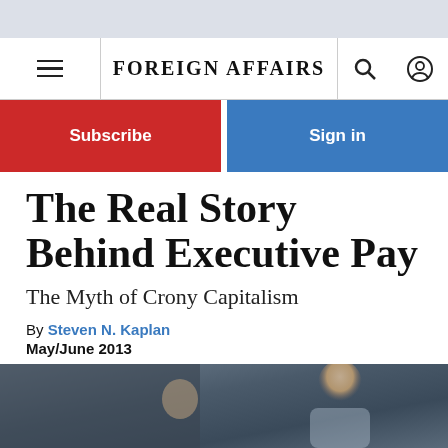FOREIGN AFFAIRS
Subscribe
Sign in
The Real Story Behind Executive Pay
The Myth of Crony Capitalism
By Steven N. Kaplan
May/June 2013
[Figure (photo): Photograph of a person smiling, partially obscured, dark background]